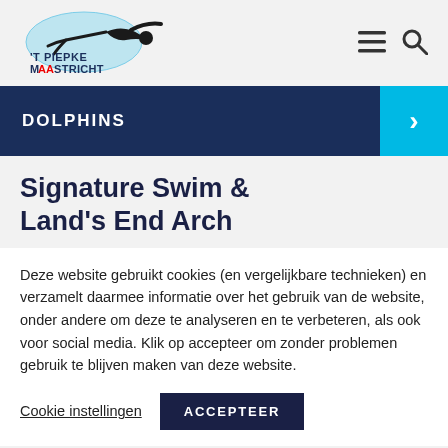'T PIEPKE MAASTRICHT
DOLPHINS
Signature Swim & Land's End Arch
Deze website gebruikt cookies (en vergelijkbare technieken) en verzamelt daarmee informatie over het gebruik van de website, onder andere om deze te analyseren en te verbeteren, als ook voor social media. Klik op accepteer om zonder problemen gebruik te blijven maken van deze website.
Cookie instellingen
ACCEPTEER